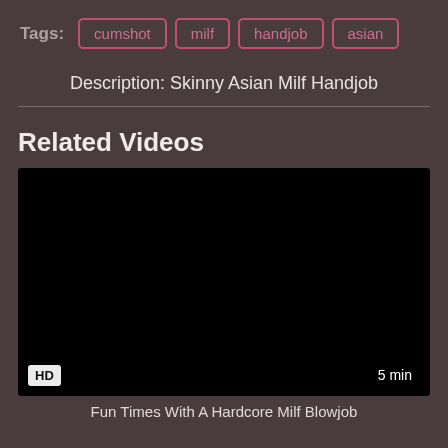Tags: cumshot milf handjob asian
Description: Skinny Asian Milf Handjob
Related Videos
[Figure (screenshot): Black video thumbnail with HD badge bottom-left and '5 min' duration badge bottom-right]
Fun Times With A Hardcore Milf Blowjob